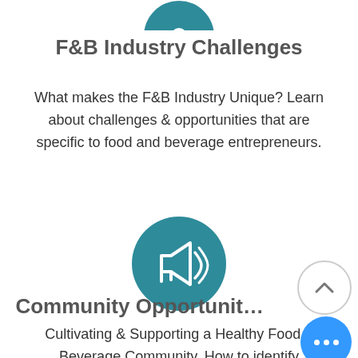[Figure (illustration): Teal circular icon (partially cropped at top) shown at the top of the page]
F&B Industry Challenges
What makes the F&B Industry Unique? Learn about challenges & opportunities that are specific to food and beverage entrepreneurs.
[Figure (illustration): Teal circular icon with a megaphone/bullhorn graphic in white]
Community Opportunit…
Cultivating & Supporting a Healthy Food + Beverage Community. How to identify opportunities and impactful change through coaching in